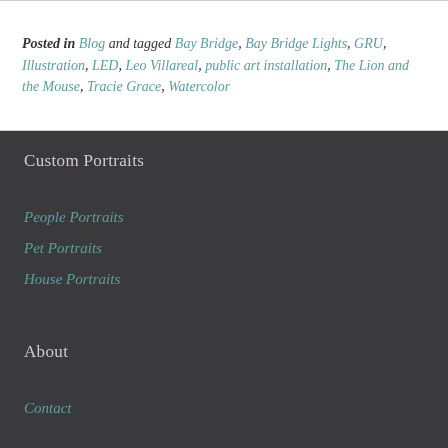Posted in Blog and tagged Bay Bridge, Bay Bridge Lights, GRU, Illustration, LED, Leo Villareal, public art installation, The Lion and the Mouse, Tracie Grace, Watercolor
Custom Portraits
People Portraits
Pet Portraits
House Portraits
About
Contact
[Figure (other): reCAPTCHA badge with blue arrow icon and Privacy - Terms text]